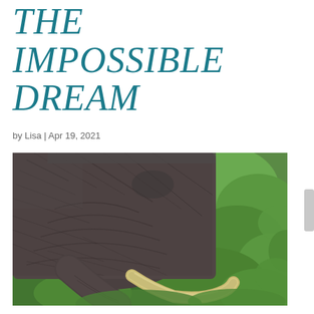THE IMPOSSIBLE DREAM
by Lisa | Apr 19, 2021
[Figure (photo): Close-up photograph of an African elephant's head and trunk with a large ivory tusk, surrounded by green vegetation/bushes]